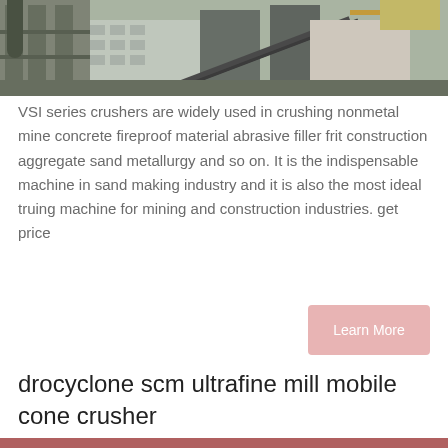[Figure (photo): Industrial crushing/mining equipment facility with large steel structures, conveyor belts, pipes, and machinery against a building backdrop with cranes visible.]
VSI series crushers are widely used in crushing nonmetal mine concrete fireproof material abrasive filler frit construction aggregate sand metallurgy and so on. It is the indispensable machine in sand making industry and it is also the most ideal truing machine for mining and construction industries. get price
Learn More
drocyclone scm ultrafine mill mobile cone crusher
[Figure (photo): Partial view of industrial machinery, appears reddish/brown colored equipment.]